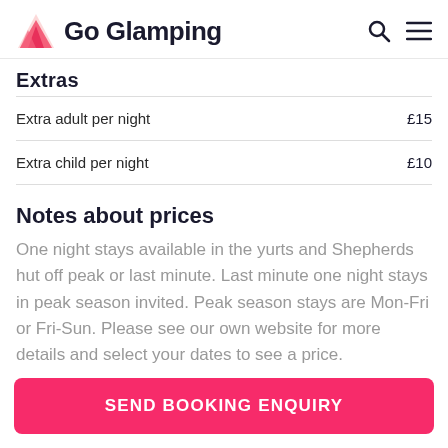Go Glamping
Extras
| Item | Price |
| --- | --- |
| Extra adult per night | £15 |
| Extra child per night | £10 |
Notes about prices
One night stays available in the yurts and Shepherds hut off peak or last minute. Last minute one night stays in peak season invited. Peak season stays are Mon-Fri or Fri-Sun. Please see our own website for more details and select your dates to see a price.
SEND BOOKING ENQUIRY